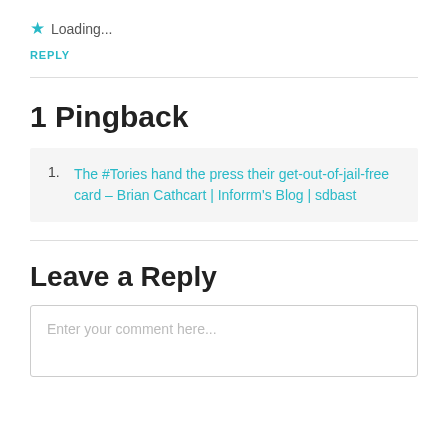★ Loading...
REPLY
1 Pingback
The #Tories hand the press their get-out-of-jail-free card – Brian Cathcart | Inforrm's Blog | sdbast
Leave a Reply
Enter your comment here...